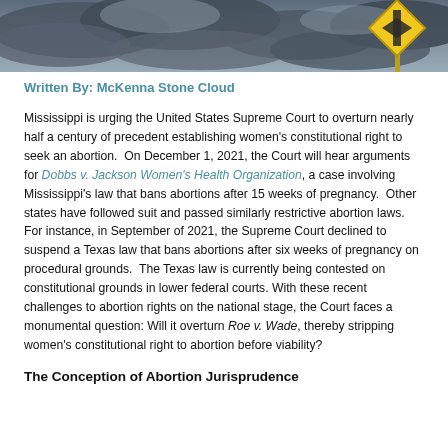[Figure (photo): Stormy cloudy sky background with a yellow diamond-shaped road sign at the top right, partially visible]
Written By: McKenna Stone Cloud
Mississippi is urging the United States Supreme Court to overturn nearly half a century of precedent establishing women's constitutional right to seek an abortion. On December 1, 2021, the Court will hear arguments for Dobbs v. Jackson Women's Health Organization, a case involving Mississippi's law that bans abortions after 15 weeks of pregnancy. Other states have followed suit and passed similarly restrictive abortion laws. For instance, in September of 2021, the Supreme Court declined to suspend a Texas law that bans abortions after six weeks of pregnancy on procedural grounds. The Texas law is currently being contested on constitutional grounds in lower federal courts. With these recent challenges to abortion rights on the national stage, the Court faces a monumental question: Will it overturn Roe v. Wade, thereby stripping women's constitutional right to abortion before viability?
The Conception of Abortion Jurisprudence